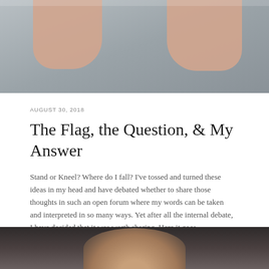[Figure (photo): Top portion of a photo showing hands resting on a concrete or stone surface, viewed from above.]
AUGUST 30, 2018
The Flag, the Question, & My Answer
Stand or Kneel? Where do I fall? I've tossed and turned these ideas in my head and have debated whether to share those thoughts in such an open forum where my words can be taken and interpreted in so many ways. Yet after all the internal debate, I have decided that it was worth sharing. Here it goes.
Continue Reading
[Figure (photo): Bottom portion of page showing the top of a person's head with dark hair against a light background.]